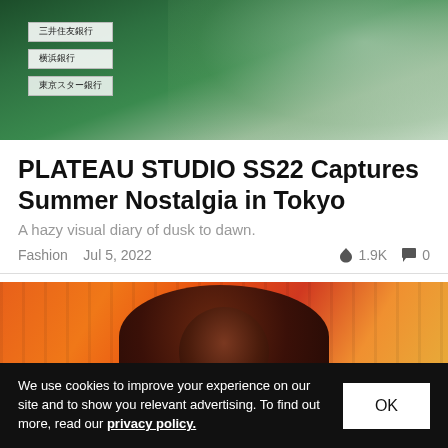[Figure (photo): Top portion of a person wearing a green short-sleeve shirt, with Japanese bank signs visible in the background (三井住友銀行, 横浜銀行, 東京スター銀行)]
PLATEAU STUDIO SS22 Captures Summer Nostalgia in Tokyo
A hazy visual diary of dusk to dawn.
Fashion  Jul 5, 2022  🔥 1.9K  💬 0
[Figure (photo): A person with long dark hair wearing glasses and a dark collared jacket, photographed against a warm orange and red curtain background]
We use cookies to improve your experience on our site and to show you relevant advertising. To find out more, read our privacy policy.